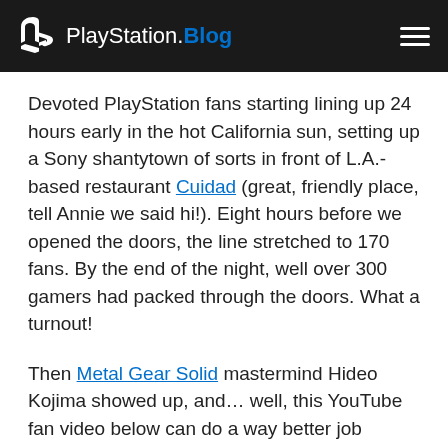PlayStation.Blog
Devoted PlayStation fans starting lining up 24 hours early in the hot California sun, setting up a Sony shantytown of sorts in front of L.A.-based restaurant Cuidad (great, friendly place, tell Annie we said hi!). Eight hours before we opened the doors, the line stretched to 170 fans. By the end of the night, well over 300 gamers had packed through the doors. What a turnout!
Then Metal Gear Solid mastermind Hideo Kojima showed up, and… well, this YouTube fan video below can do a way better job explaining than I ever could: